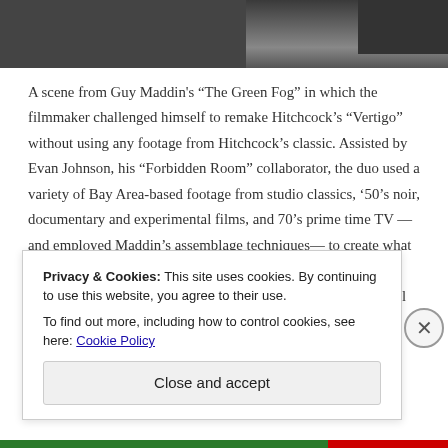[Figure (photo): Black and white still from Guy Maddin's The Green Fog, showing an outdoor scene with foliage and architectural elements]
A scene from Guy Maddin's “The Green Fog” in which the filmmaker challenged himself to remake Hitchcock’s “Vertigo” without using any footage from Hitchcock’s classic. Assisted by Evan Johnson, his “Forbidden Room” collaborator, the duo used a variety of Bay Area-based footage from studio classics, ’50’s noir, documentary and experimental films, and 70’s prime time TV —and employed Maddin’s assemblage techniques— to create what Maddin describes as a “parallel universe” version. “The Green Fog–A San Francisco Fantasia” closes the 60th SF International Film Festival.” on
Privacy & Cookies: This site uses cookies. By continuing to use this website, you agree to their use.
To find out more, including how to control cookies, see here: Cookie Policy
Close and accept